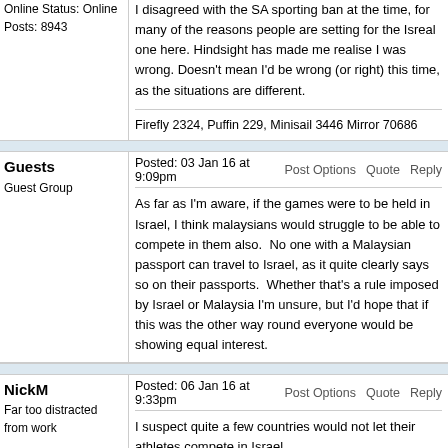Online Status: Online
Posts: 8943
I disagreed with the SA sporting ban at the time, for many of the reasons people are setting for the Isreal one here. Hindsight has made me realise I was wrong. Doesn't mean I'd be wrong (or right) this time, as the situations are different.
Firefly 2324, Puffin 229, Minisail 3446 Mirror 70686
Guests
Guest Group
Posted: 03 Jan 16 at 9:09pm    Post Options    Quote    Reply
As far as I'm aware, if the games were to be held in Israel, I think malaysians would struggle to be able to compete in them also.  No one with a Malaysian passport can travel to Israel, as it quite clearly says so on their passports.  Whether that's a rule imposed by Israel or Malaysia I'm unsure, but I'd hope that if this was the other way round everyone would be showing equal interest.
NickM
Far too distracted from work
Posted: 06 Jan 16 at 9:33pm    Post Options    Quote    Reply
I suspect quite a few countries would not let their athletes compete in Israel.
Joined: 27 May 09
Location: United Kingdom
Online Status: Offline
Posts: 328